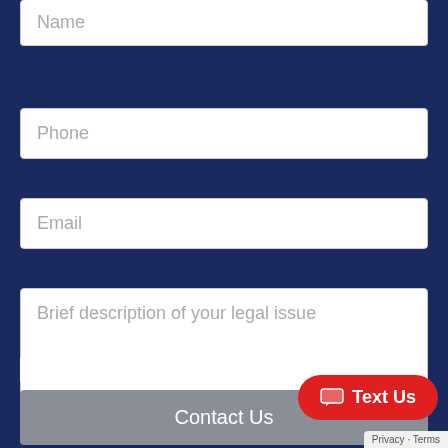Name
Phone
Email
Brief description of your legal issue
I Have Read The Disclaimer *
Contact Us
Text Us
Privacy · Terms